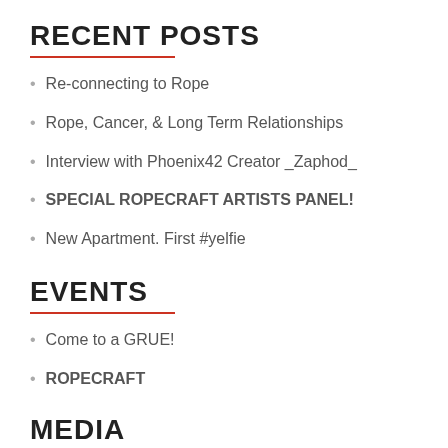RECENT POSTS
Re-connecting to Rope
Rope, Cancer, & Long Term Relationships
Interview with Phoenix42 Creator _Zaphod_
SPECIAL ROPECRAFT ARTISTS PANEL!
New Apartment. First #yelfie
EVENTS
Come to a GRUE!
ROPECRAFT
MEDIA